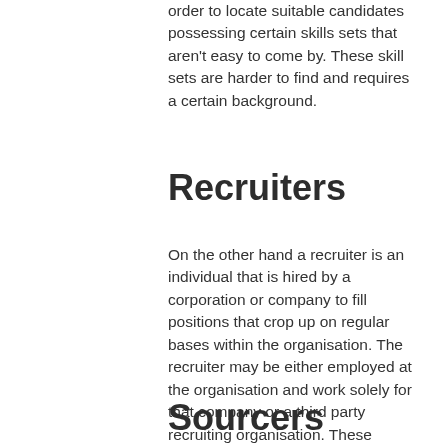order to locate suitable candidates possessing certain skills sets that aren't easy to come by. These skill sets are harder to find and requires a certain background.
Recruiters
On the other hand a recruiter is an individual that is hired by a corporation or company to fill positions that crop up on regular bases within the organisation. The recruiter may be either employed at the organisation and work solely for that company or a third party recruiting organisation. These individuals may work within their own business or are usually a part of a larger staffing organisation.
Sourcers